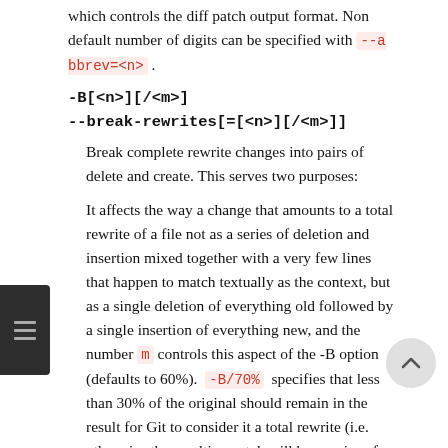which controls the diff patch output format. Non default number of digits can be specified with --abbrev=<n>.
-B[<n>][/<m>]
--break-rewrites[=[<n>][/<m>]]
Break complete rewrite changes into pairs of delete and create. This serves two purposes:
It affects the way a change that amounts to a total rewrite of a file not as a series of deletion and insertion mixed together with a very few lines that happen to match textually as the context, but as a single deletion of everything old followed by a single insertion of everything new, and the number m controls this aspect of the -B option (defaults to 60%). -B/70% specifies that less than 30% of the original should remain in the result for Git to consider it a total rewrite (i.e. otherwise the resulting patch will be a series of deletion and insertion mixed together with context lines).
When used with -M, a totally-rewritten file is also